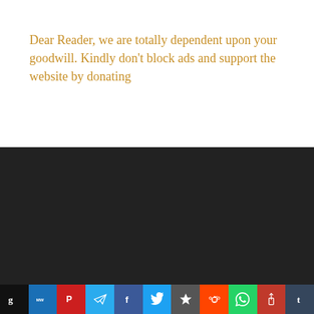Dear Reader, we are totally dependent upon your goodwill. Kindly don't block ads and support the website by donating
[Figure (other): Dark/black background section occupying the lower middle portion of the page]
[Figure (infographic): Social sharing icon bar at the bottom with icons for Gab, MeWe, Parler, Telegram, Facebook, Twitter, Minds, Reddit, WhatsApp, iPhone share, and Tumblr]